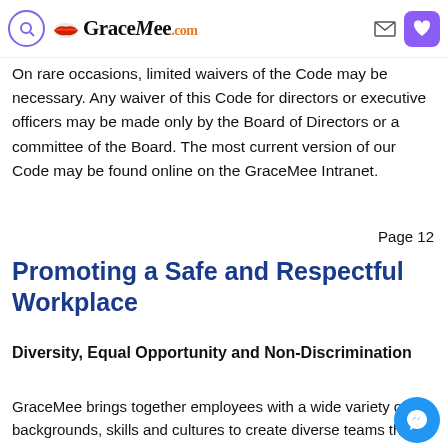GraceMee.com — site header with search, logo, mail, and heart icons
Waivers and Changes to the Code
On rare occasions, limited waivers of the Code may be necessary. Any waiver of this Code for directors or executive officers may be made only by the Board of Directors or a committee of the Board. The most current version of our Code may be found online on the GraceMee Intranet.
Page 12
Promoting a Safe and Respectful Workplace
Diversity, Equal Opportunity and Non-Discrimination
GraceMee brings together employees with a wide variety of backgrounds, skills and cultures to create diverse teams that